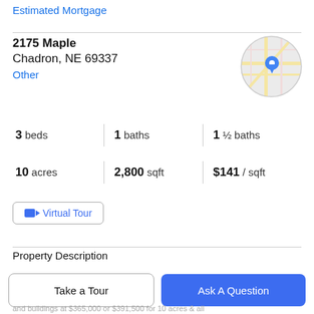Estimated Mortgage
2175 Maple
Chadron, NE 69337
Other
[Figure (map): Circular map thumbnail with a blue location pin marker over road map]
3 beds | 1 baths | 1 ½ baths
10 acres | 2,800 sqft | $141 / sqft
Virtual Tour
Property Description
Listed by Lori Paulsen Sauser, Best in the West Realty, 605-391-LORI (5674). Beautiful log home on 10 acres,
Take a Tour
Ask A Question
and buildings at $365,000 or $391,500 for 10 acres & all